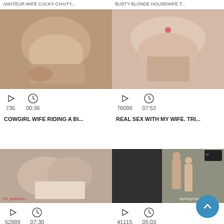AMATEUR WIFE CUCKY CHAITY... BUSTY BLONDE HOUSEWIFE T...
[Figure (photo): Video thumbnail - cowgirl position]
736   00:36
COWGIRL WIFE RIDING A BI...
[Figure (photo): Video thumbnail - couple]
76098   07:52
REAL SEX WITH MY WIFE. TRI...
[Figure (photo): Video thumbnail - couple on bed]
52889   07:30
[Figure (photo): Video thumbnail - couple in shower, MySexyCouple.com watermark]
41115   05:03